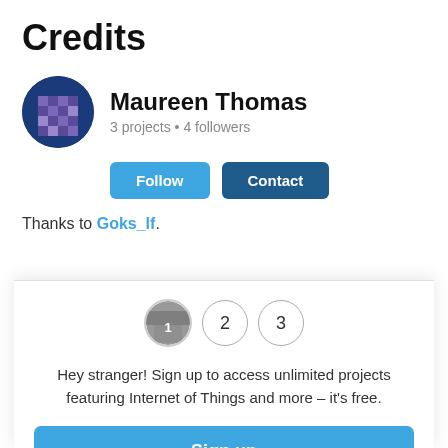Credits
Maureen Thomas
3 projects • 4 followers
Thanks to Goks_If.
Hey stranger! Sign up to access unlimited projects featuring Internet of Things and more – it's free.
Sign up
Not now